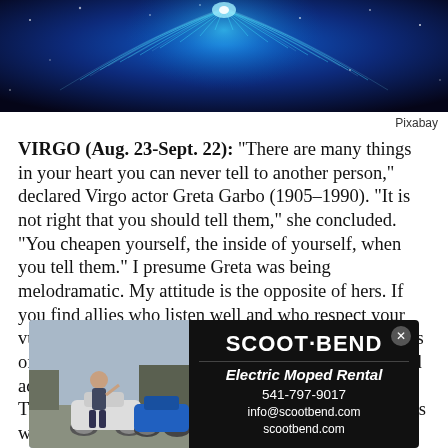[Figure (illustration): Blue cosmic/astrology themed hero image with glowing wing-like or butterfly light patterns on dark blue starry background]
Pixabay
VIRGO (Aug. 23-Sept. 22): "There are many things in your heart you can never tell to another person," declared Virgo actor Greta Garbo (1905–1990). "It is not right that you should tell them," she concluded. "You cheapen yourself, the inside of yourself, when you tell them." I presume Greta was being melodramatic. My attitude is the opposite of hers. If you find allies who listen well and who respect your vulnerability, you should relish telling them the secrets of your heart. To do so enriches you, deepens you, and adds soulful new meanings to your primary mysteries. The coming weeks will be a favorable time to seek this wise pleasure in abundance.
[Figure (photo): Advertisement for Scoot Bend Electric Moped Rental showing a person with two mopeds outdoors, alongside black panel with company name, tagline, phone number 541-797-9017, info@scootbend.com, scootbend.com]